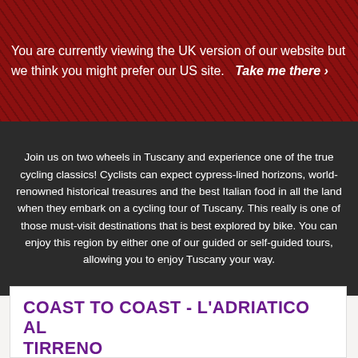You are currently viewing the UK version of our website but we think you might prefer our US site. Take me there ›
Join us on two wheels in Tuscany and experience one of the true cycling classics! Cyclists can expect cypress-lined horizons, world-renowned historical treasures and the best Italian food in all the land when they embark on a cycling tour of Tuscany. This really is one of those must-visit destinations that is best explored by bike. You can enjoy this region by either one of our guided or self-guided tours, allowing you to enjoy Tuscany your way.
COAST TO COAST - L'ADRIATICO AL TIRRENO